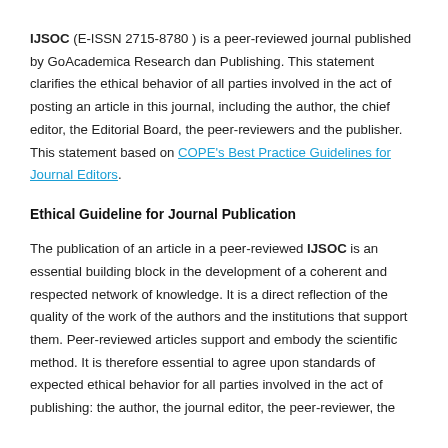IJSOC (E-ISSN 2715-8780 ) is a peer-reviewed journal published by GoAcademica Research dan Publishing. This statement clarifies the ethical behavior of all parties involved in the act of posting an article in this journal, including the author, the chief editor, the Editorial Board, the peer-reviewers and the publisher. This statement based on COPE's Best Practice Guidelines for Journal Editors.
Ethical Guideline for Journal Publication
The publication of an article in a peer-reviewed IJSOC is an essential building block in the development of a coherent and respected network of knowledge. It is a direct reflection of the quality of the work of the authors and the institutions that support them. Peer-reviewed articles support and embody the scientific method. It is therefore essential to agree upon standards of expected ethical behavior for all parties involved in the act of publishing: the author, the journal editor, the peer-reviewer, the